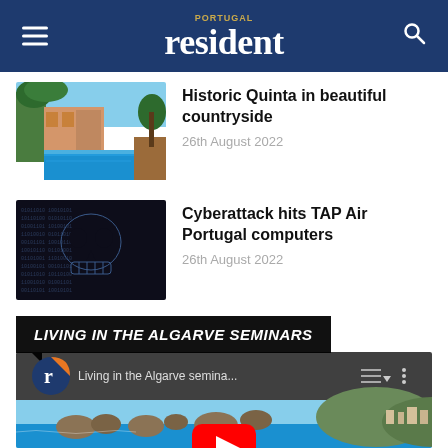Portugal Resident
Historic Quinta in beautiful countryside
26th August 2022
Cyberattack hits TAP Air Portugal computers
26th August 2022
LIVING IN THE ALGARVE SEMINARS
[Figure (screenshot): YouTube video embed: Living in the Algarve semina... with coastline background and play button]